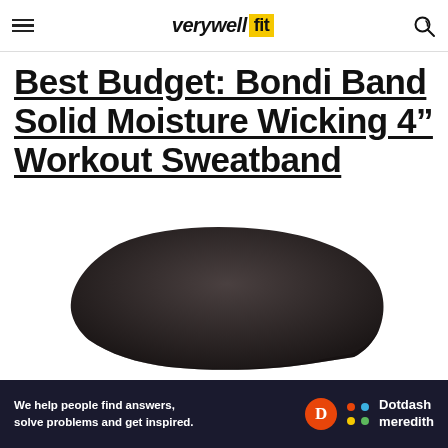verywellfit
Best Budget: Bondi Band Solid Moisture Wicking 4” Workout Sweatband
[Figure (photo): Black Bondi Band solid moisture wicking 4-inch workout sweatband, shown as an isolated product image on white background. The headband is wide in the center and tapers at the ends, dark charcoal/black color.]
We help people find answers, solve problems and get inspired. Dotdash meredith